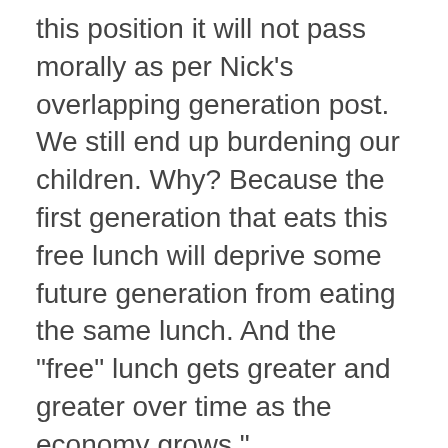this position it will not pass morally as per Nick's overlapping generation post. We still end up burdening our children. Why? Because the first generation that eats this free lunch will deprive some future generation from eating the same lunch. And the "free" lunch gets greater and greater over time as the economy grows."
Oooh! Very interesting point! I wonder how we could share that free lunch across all generations, fairly/equally?
JKH: I answer an emphatic "Yes!" to each of your four